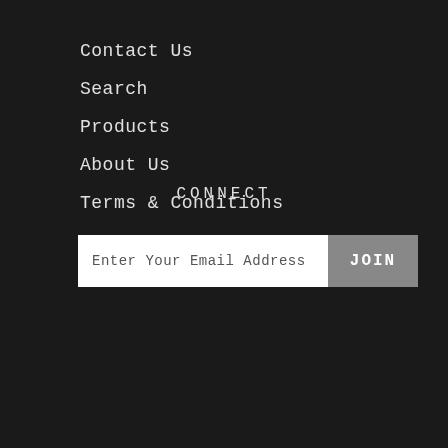Contact Us
Search
Products
About Us
Terms & Conditions
CONNECT
Enter Your Email Address  JOIN
[Figure (other): Social media icons: Facebook, Pinterest, Instagram]